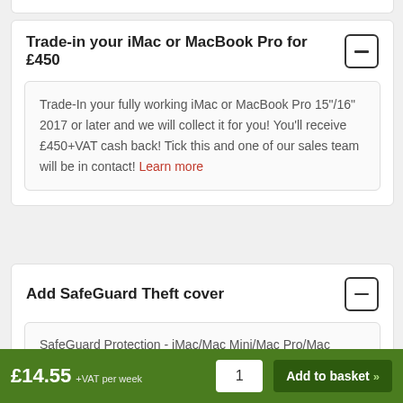Trade-in your iMac or MacBook Pro for £450
Trade-In your fully working iMac or MacBook Pro 15"/16" 2017 or later and we will collect it for you! You'll receive £450+VAT cash back! Tick this and one of our sales team will be in contact! Learn more
Add SafeGuard Theft cover
SafeGuard Protection - iMac/Mac Mini/Mac Pro/Mac
£14.55 +VAT per week
1
Add to basket »